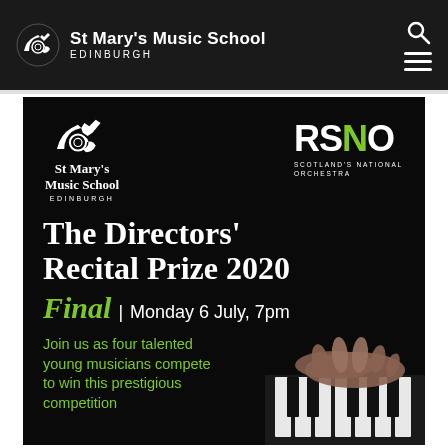St Mary's Music School EDINBURGH
[Figure (illustration): Event poster for The Directors' Recital Prize 2020 Final. Black background with St Mary's Music School Edinburgh logo (French horn icon) on the left and RSNO (Scotland's National Orchestra) logo on the right. Large white serif text reads 'The Directors' Recital Prize 2020'. Below in green italic 'Final' followed in white '| Monday 6 July, 7pm'. Green text at bottom: 'Join us as four talented young musicians compete to win this prestigious competition'. Bottom right shows a partial image of hands on a piano keyboard.]